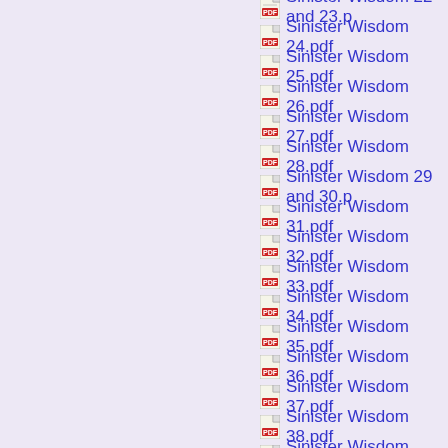Sinister Wisdom 22 and 23.pdf
Sinister Wisdom 24.pdf
Sinister Wisdom 25.pdf
Sinister Wisdom 26.pdf
Sinister Wisdom 27.pdf
Sinister Wisdom 28.pdf
Sinister Wisdom 29 and 30.pdf
Sinister Wisdom 31.pdf
Sinister Wisdom 32.pdf
Sinister Wisdom 33.pdf
Sinister Wisdom 34.pdf
Sinister Wisdom 35.pdf
Sinister Wisdom 36.pdf
Sinister Wisdom 37.pdf
Sinister Wisdom 38.pdf
Sinister Wisdom 39.pdf
Sinister Wisdom 40.pdf
Sinister Wisdom 41.pdf
Sinister Wisdom 42.pdf
Sinister Wisdom 43 and 44.pdf
Sinister Wisdom 45.pdf